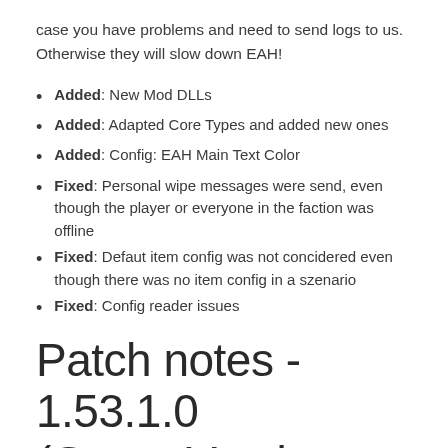case you have problems and need to send logs to us. Otherwise they will slow down EAH!
Added: New Mod DLLs
Added: Adapted Core Types and added new ones
Added: Config: EAH Main Text Color
Fixed: Personal wipe messages were send, even though the player or everyone in the faction was offline
Fixed: Defaut item config was not concidered even though there was no item config in a szenario
Fixed: Config reader issues
Patch notes - 1.53.1.0
(Game Version 1.7)